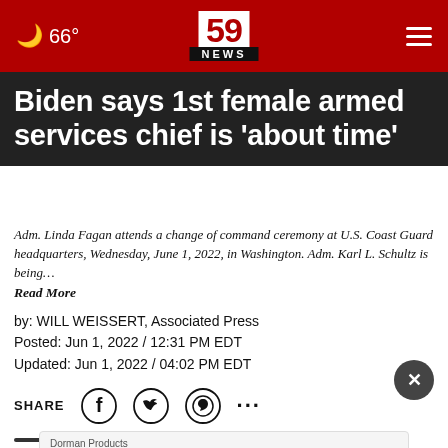🌙 66° | 59 NEWS | ≡
Biden says 1st female armed services chief is 'about time'
Adm. Linda Fagan attends a change of command ceremony at U.S. Coast Guard headquarters, Wednesday, June 1, 2022, in Washington. Adm. Karl L. Schultz is being… Read More
by: WILL WEISSERT, Associated Press
Posted: Jun 1, 2022 / 12:31 PM EDT
Updated: Jun 1, 2022 / 04:02 PM EDT
SHARE [Facebook] [Twitter] [WhatsApp] ...
WASH... Adm. Linda Fagan as new Commandant of the U.S.